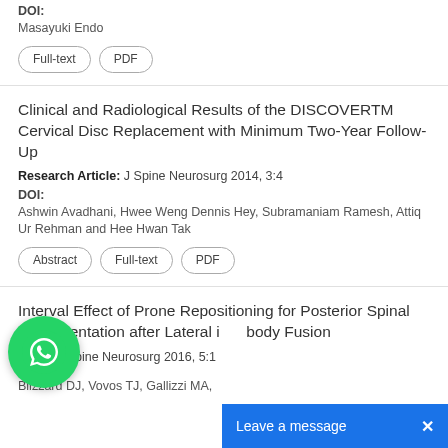DOI:
Masayuki Endo
Full-text  PDF
Clinical and Radiological Results of the DISCOVERTM Cervical Disc Replacement with Minimum Two-Year Follow-Up
Research Article: J Spine Neurosurg 2014, 3:4
DOI:
Ashwin Avadhani, Hwee Weng Dennis Hey, Subramaniam Ramesh, Attiq Ur Rehman and Hee Hwan Tak
Abstract  Full-text  PDF
Interval Effect of Prone Repositioning for Posterior Spinal Instrumentation after Lateral interbody Fusion
Case Report: J Spine Neurosurg 2016, 5:1
Blizzard DJ, Vovos TJ, Gallizzi MA, ... and Brown CR